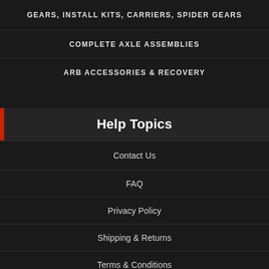GEARS, INSTALL KITS, CARRIERS, SPIDER GEARS
COMPLETE AXLE ASSEMBLIES
ARB ACCESSORIES & RECOVERY
Help Topics
Contact Us
FAQ
Privacy Policy
Shipping & Returns
Terms & Conditions